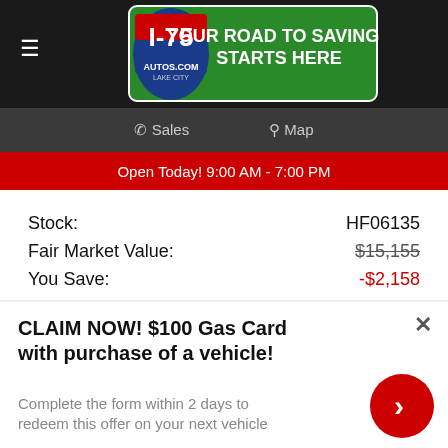[Figure (logo): I-75 Autos.com Lake City logo with 'Your Road to Savings Starts Here' text on green background]
☰  Sales  Map
Open Today! 9:00 AM - 7:00 PM
| Stock: | HF06135 |
| Fair Market Value: | $15,155 |
| You Save: | -$2,158 |
| I-75 Auto's Price: | $12,997* |
[Figure (logo): Morgan Bypass logo in red and dark grey text]
CLAIM NOW! $100 Gas Card with purchase of a vehicle!
Complete the form within 2 days to redeem this offer on your next vehicle